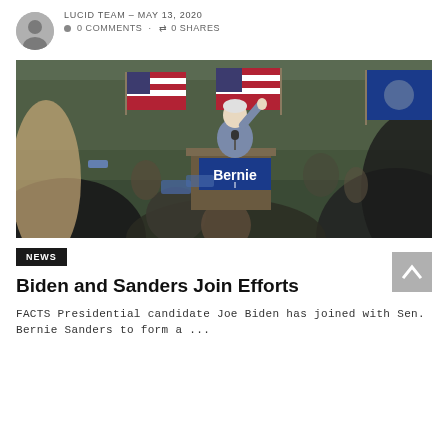LUCID TEAM – MAY 13, 2020  0 COMMENTS · 0 SHARES
[Figure (photo): Bernie Sanders speaking at a campaign rally at a podium with a 'Bernie' sign, raising his hand, with American flags in the background and a crowd in the foreground]
NEWS
Biden and Sanders Join Efforts
FACTS Presidential candidate Joe Biden has joined with Sen. Bernie Sanders to form a ...